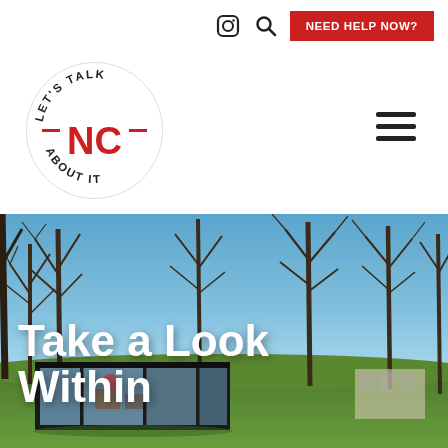[Figure (logo): Let's Talk NC About It circular logo with red NC text in center and dashes on sides]
[Figure (screenshot): Website header top bar with Instagram icon, search icon, and red NEED HELP NOW? button]
[Figure (photo): Hero image of a glass house (modern architecture) surrounded by bare trees and green grass under a blue sky, with bold white text reading Take a Look Within]
Take a Look Within